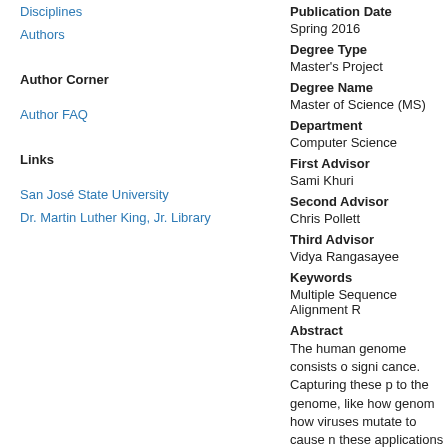Disciplines
Authors
Author Corner
Author FAQ
Links
San José State University
Dr. Martin Luther King, Jr. Library
Publication Date
Spring 2016
Degree Type
Master's Project
Degree Name
Master of Science (MS)
Department
Computer Science
First Advisor
Sami Khuri
Second Advisor
Chris Pollett
Third Advisor
Vidya Rangasayee
Keywords
Multiple Sequence Alignment R
Abstract
The human genome consists o signi cance. Capturing these p to the genome, like how genom how viruses mutate to cause n these applications are covered